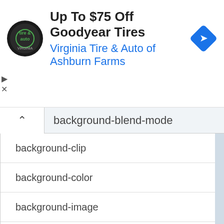[Figure (screenshot): Advertisement banner for 'Up To $75 Off Goodyear Tires' from Virginia Tire & Auto of Ashburn Farms, with logo on left and navigation arrow icon on right]
background-blend-mode
background-clip
background-color
background-image
background-origin
background-position
background-repeat
background-size